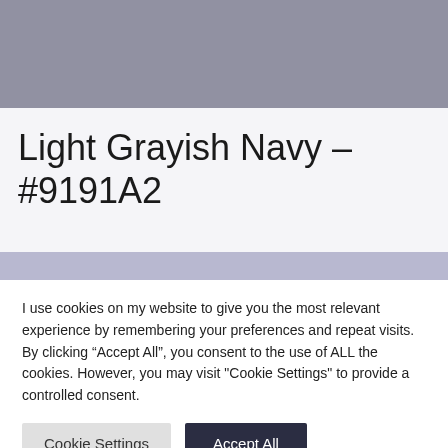[Figure (illustration): Color swatch rectangle filled with #9191A2 (Light Grayish Navy)]
Light Grayish Navy – #9191A2
[Figure (illustration): Thin horizontal stripe in light lavender/periwinkle color #b8b8d0]
I use cookies on my website to give you the most relevant experience by remembering your preferences and repeat visits. By clicking "Accept All", you consent to the use of ALL the cookies. However, you may visit "Cookie Settings" to provide a controlled consent.
Cookie Settings | Accept All